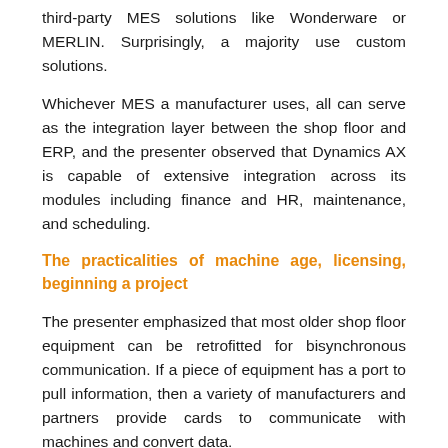third-party MES solutions like Wonderware or MERLIN. Surprisingly, a majority use custom solutions.
Whichever MES a manufacturer uses, all can serve as the integration layer between the shop floor and ERP, and the presenter observed that Dynamics AX is capable of extensive integration across its modules including finance and HR, maintenance, and scheduling.
The practicalities of machine age, licensing, beginning a project
The presenter emphasized that most older shop floor equipment can be retrofitted for bisynchronous communication. If a piece of equipment has a port to pull information, then a variety of manufacturers and partners provide cards to communicate with machines and convert data.
A single Dynamics AX enterprise user license is all that is required for the entire shop floor; each operator or piece of equipment does not require additional licenses.